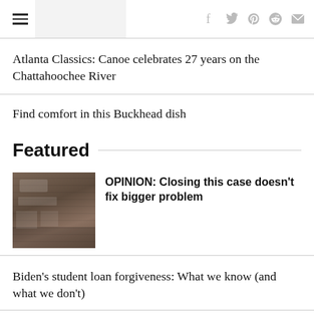Navigation header with hamburger menu and social icons (f, twitter, pinterest, reddit, mail)
Atlanta Classics: Canoe celebrates 27 years on the Chattahoochee River
Find comfort in this Buckhead dish
Featured
[Figure (photo): Exterior photo of a shop/restaurant storefront with signage and items in the window]
OPINION: Closing this case doesn't fix bigger problem
Biden's student loan forgiveness: What we know (and what we don't)